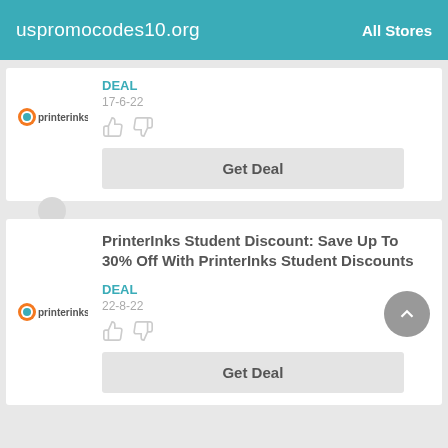uspromocodes10.org   All Stores
DEAL
17-6-22
Get Deal
PrinterInks Student Discount: Save Up To 30% Off With PrinterInks Student Discounts
DEAL
22-8-22
Get Deal